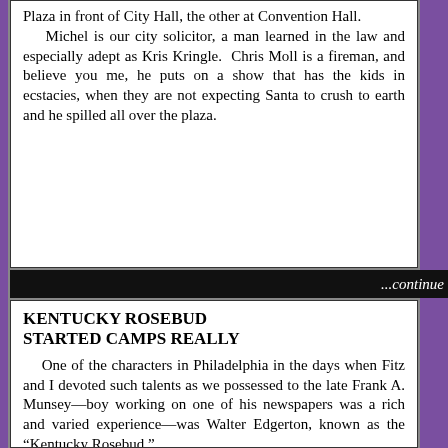Plaza in front of City Hall, the other at Convention Hall. Michel is our city solicitor, a man learned in the law and especially adept as Kris Kringle. Chris Moll is a fireman, and believe you me, he puts on a show that has the kids in ecstacies, when they are not expecting Santa to crush to earth and he spilled all over the plaza.
...continue
KENTUCKY ROSEBUD STARTED CAMPS REALLY
One of the characters in Philadelphia in the days when Fitz and I devoted such talents as we possessed to the late Frank A. Munsey—boy working on one of his newspapers was a rich and varied experience—was Walter Edgerton, known as the "Kentucky Rosebud."